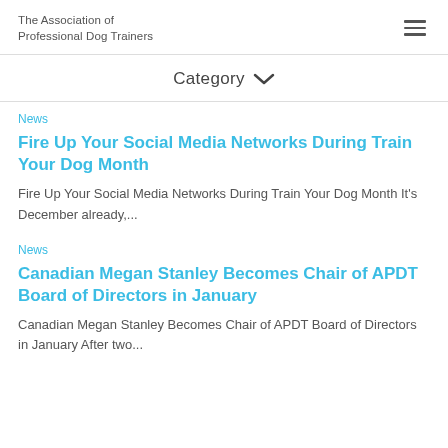The Association of Professional Dog Trainers
Category
News
Fire Up Your Social Media Networks During Train Your Dog Month
Fire Up Your Social Media Networks During Train Your Dog Month It's December already,...
News
Canadian Megan Stanley Becomes Chair of APDT Board of Directors in January
Canadian Megan Stanley Becomes Chair of APDT Board of Directors in January After two...